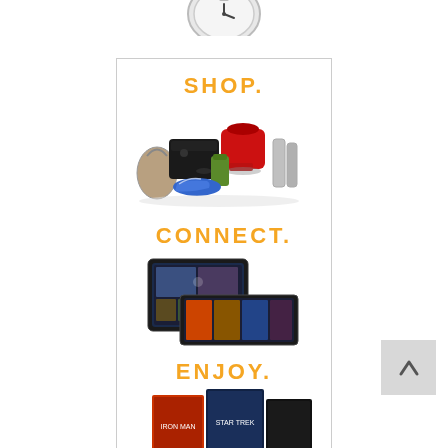[Figure (photo): Partial stopwatch/clock image at top of page]
[Figure (infographic): Amazon advertisement banner with three sections: SHOP. (showing various products: gaming console, mixer, shoes, bag, blender, kitchen items), CONNECT. (showing Kindle Fire tablets), and ENJOY. (showing movie/entertainment covers)]
[Figure (other): Grey back/up navigation button with chevron arrow on right side of page]